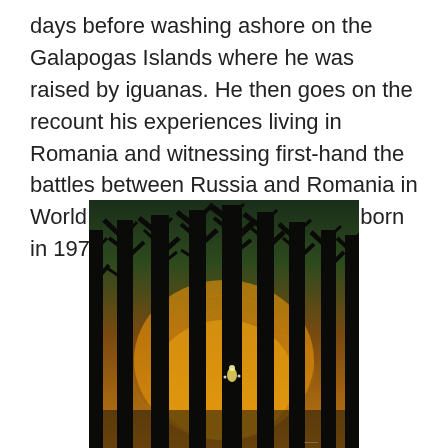days before washing ashore on the Galapogas Islands where he was raised by iguanas. He then goes on the recount his experiences living in Romania and witnessing first-hand the battles between Russia and Romania in World War I, even though he was born in 1979.
[Figure (illustration): A painting of a dark forest at dusk or dawn with silhouetted bare trees against a warm amber and orange background. There appears to be a small glowing creature or figure among the trees in the middle distance. The sky transitions from dark green at the top to golden orange lower down, with intricate swirling patterns visible in the background.]